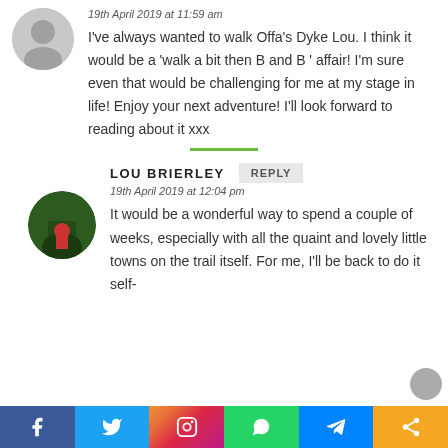19th April 2019 at 11:59 am
I've always wanted to walk Offa's Dyke Lou. I think it would be a 'walk a bit then B and B ' affair! I'm sure even that would be challenging for me at my stage in life! Enjoy your next adventure! I'll look forward to reading about it xxx
LOU BRIERLEY
19th April 2019 at 12:04 pm
It would be a wonderful way to spend a couple of weeks, especially with all the quaint and lovely little towns on the trail itself. For me, I'll be back to do it self...